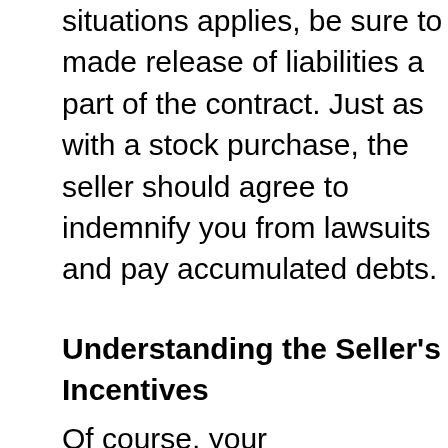If one of these situations applies, be sure to made release of liabilities a part of the contract. Just as with a stock purchase, the seller should agree to indemnify you from lawsuits and pay accumulated debts.
Understanding the Seller's Incentives
Of course, your